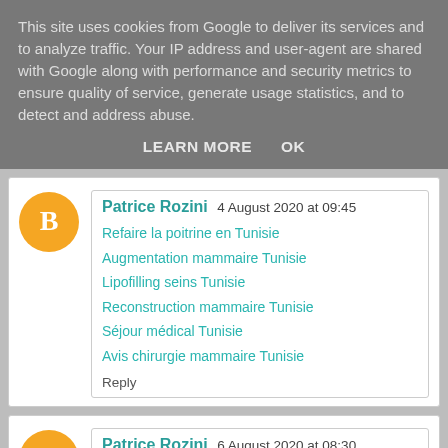This site uses cookies from Google to deliver its services and to analyze traffic. Your IP address and user-agent are shared with Google along with performance and security metrics to ensure quality of service, generate usage statistics, and to detect and address abuse.
LEARN MORE   OK
Patrice Rozini 4 August 2020 at 09:45
Refaire la poitrine en Tunisie
Augmentation mammaire Tunisie
Lipofilling seins Tunisie
Reconstruction mammaire Tunisie
Séjour médical Tunisie
Avis chirurgie mammaire Tunisie
Reply
Patrice Rozini 6 August 2020 at 08:30
Clinique chirurgie esthetique Tunisie
Prix augmentation fesses Tunisie
Lipofilling fesses Tunisie prix